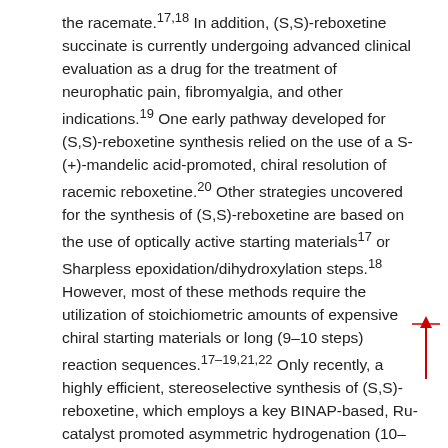the racemate.17,18 In addition, (S,S)-reboxetine succinate is currently undergoing advanced clinical evaluation as a drug for the treatment of neurophatic pain, fibromyalgia, and other indications.19 One early pathway developed for (S,S)-reboxetine synthesis relied on the use of a S-(+)-mandelic acid-promoted, chiral resolution of racemic reboxetine.20 Other strategies uncovered for the synthesis of (S,S)-reboxetine are based on the use of optically active starting materials17 or Sharpless epoxidation/dihydroxylation steps.18 However, most of these methods require the utilization of stoichiometric amounts of expensive chiral starting materials or long (9–10 steps) reaction sequences.17–19,21,22 Only recently, a highly efficient, stereoselective synthesis of (S,S)-reboxetine, which employs a key BINAP-based, Ru-catalyst promoted asymmetric hydrogenation (10–50 atm) step was described.13 To demonstrate the usefulness of the ATH-DKR reaction of 2-benzoylmorpholinones, herein we describe a concise synthesis of (S,S)-reboxetine (1) starting with the optically pure alcohol (2R,3S)-6a (Scheme 3). The sequence used for this purpose utilizes a yield improving modification of the one previously described for the